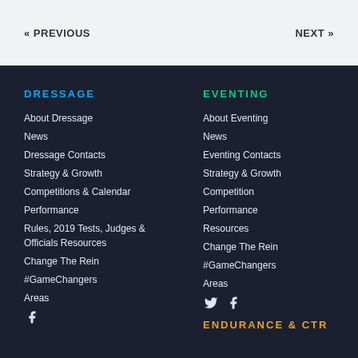« PREVIOUS   NEXT »
DRESSAGE
About Dressage
News
Dressage Contacts
Strategy & Growth
Competitions & Calendar
Performance
Rules, 2019 Tests, Judges & Officials Resources
Change The Rein
#GameChangers
Areas
EVENTING
About Eventing
News
Eventing Contacts
Strategy & Growth
Competition
Performance
Resources
Change The Rein
#GameChangers
Areas
ENDURANCE & CTR